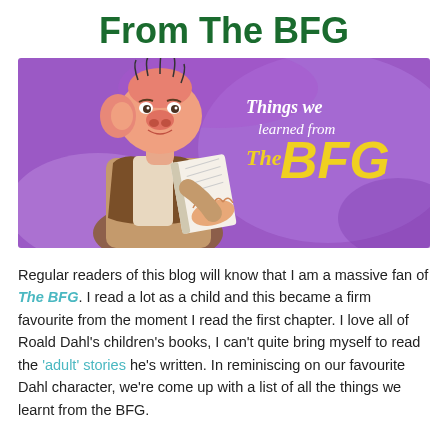From The BFG
[Figure (illustration): Illustration of the BFG character (a tall giant with big ears and a large nose, reading a book) on a purple watercolor background with text 'Things we learned from The BFG' in white and yellow lettering.]
Regular readers of this blog will know that I am a massive fan of The BFG. I read a lot as a child and this became a firm favourite from the moment I read the first chapter. I love all of Roald Dahl's children's books, I can't quite bring myself to read the 'adult' stories he's written. In reminiscing on our favourite Dahl character, we're come up with a list of all the things we learnt from the BFG.